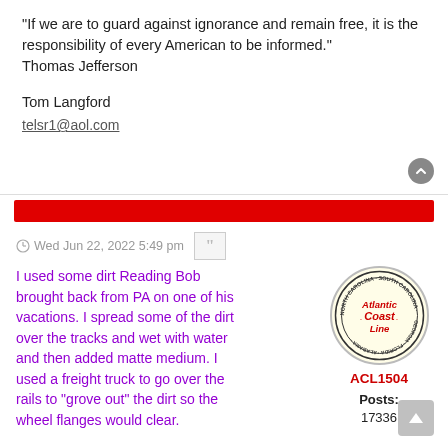"If we are to guard against ignorance and remain free, it is the responsibility of every American to be informed." Thomas Jefferson
Tom Langford
telsr1@aol.com
[Figure (other): Red horizontal banner/divider bar]
Wed Jun 22, 2022 5:49 pm
[Figure (logo): Atlantic Coast Line railroad circular logo with text: NORTH CAROLINA, SOUTH CAROLINA, VIRGINIA, GEORGIA, FLORIDA, ALABAMA around the border and ATLANTIC COAST LINE in the center in red]
ACL1504
Posts:
17336
I used some dirt Reading Bob brought back from PA on one of his vacations. I spread some of the dirt over the tracks and wet with water and then added matte medium. I used a freight truck to go over the rails to "grove out" the dirt so the wheel flanges would clear.